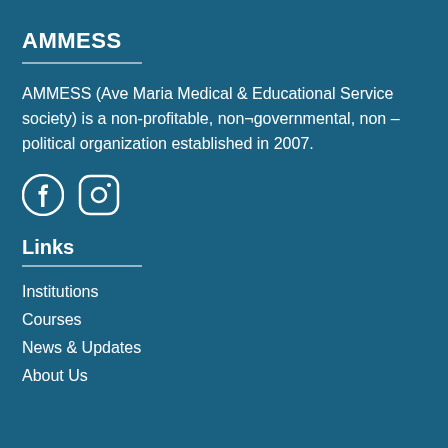AMMESS
AMMESS (Ave Maria Medical & Educational Service society) is a non-profitable, non¬governmental, non –political organization established in 2007.
[Figure (illustration): Social media icons: Facebook circle icon and Instagram camera icon, white on teal background]
Links
Institutions
Courses
News & Updates
About Us